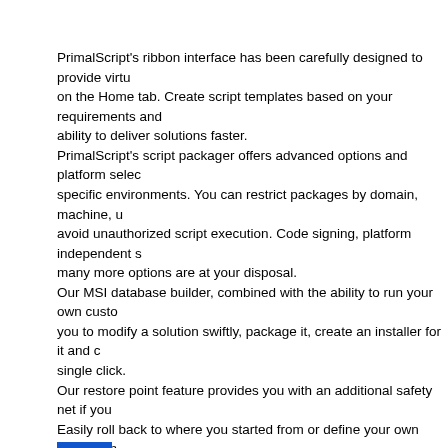PrimalScript's ribbon interface has been carefully designed to provide virtu... on the Home tab. Create script templates based on your requirements and... ability to deliver solutions faster. PrimalScript's script packager offers advanced options and platform selec... specific environments. You can restrict packages by domain, machine, u... avoid unauthorized script execution. Code signing, platform independent s... many more options are at your disposal. Our MSI database builder, combined with the ability to run your own custo... you to modify a solution swiftly, package it, create an installer for it and c... single click. Our restore point feature provides you with an additional safety net if you... Easily roll back to where you started from or define your own specific m... development.
Supports over 50 languages and file types.
Supports 32-bit and 64-bit platform development.
Next generation PowerShell local and remote debugger.
Supports Windows PowerShell and PowerShell 7 at the same time.
Script against a remote machine's Installed Module Set (IMS).
Remote VBScript, JScript and PowerShell debugger.
Supports PowerShell variable and function breakpoints.
Integrated 32-bit and 64-bit PowerShell and command console.
Multi-file and module debugging.
Single click build for packages, MSI databases and deployment.
Plus much more.
Home Page-